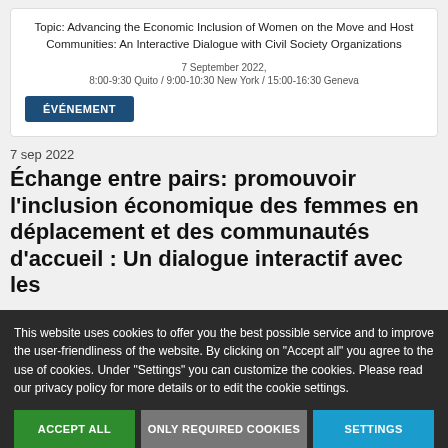Topic: Advancing the Economic Inclusion of Women on the Move and Host Communities: An Interactive Dialogue with Civil Society Organizations
7 September 2022, 8:00-9:30 Quito / 9:00-10:30 New York / 15:00-16:30 Geneva
ÉVÉNEMENT
7 sep 2022
Échange entre pairs: promouvoir l'inclusion économique des femmes en déplacement et des communautés d'accueil : Un dialogue interactif avec les
This website uses cookies to offer you the best possible service and to improve the user-friendliness of the website. By clicking on "Accept all" you agree to the use of cookies. Under "Settings" you can customize the cookies. Please read our privacy policy for more details or to edit the cookie settings.
ACCEPT ALL
ONLY REQUIRED COOKIES
SETTINGS